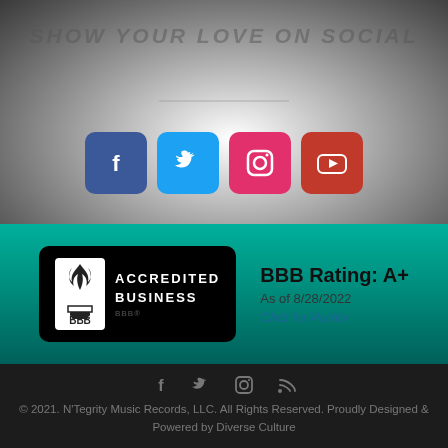SHOW YOUR LOVE ON SOCIAL
[Figure (illustration): Four social media icon buttons: Facebook (blue), Twitter (light blue), Instagram (pink/red), YouTube (red)]
[Figure (logo): BBB Accredited Business badge with BBB Rating: A+ as of 8/28/2022, Click for Profile]
BBB Rating: A+
As of 8/28/2022
Click for Profile
[Figure (illustration): Four social media icons in gray: Facebook, Twitter, Instagram, RSS feed]
© 2021. N'Tegrity Music Records, LLC. All Rights Reserved. Proudly Designed & Powered by Diverse Culture